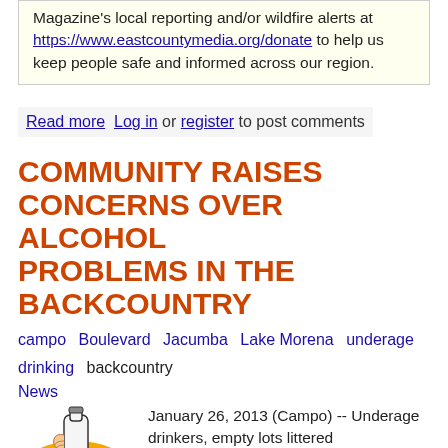Magazine's local reporting and/or wildfire alerts at https://www.eastcountymedia.org/donate to help us keep people safe and informed across our region.
Read more  Log in or register to post comments
COMMUNITY RAISES CONCERNS OVER ALCOHOL PROBLEMS IN THE BACKCOUNTRY
campo  Boulevard  Jacumba  Lake Morena  underage drinking  backcountry
News
[Figure (illustration): Illustration of a bottle with a hand holding it, with a yellow and orange circular background]
January 26, 2013 (Campo) -- Underage drinkers, empty lots littered